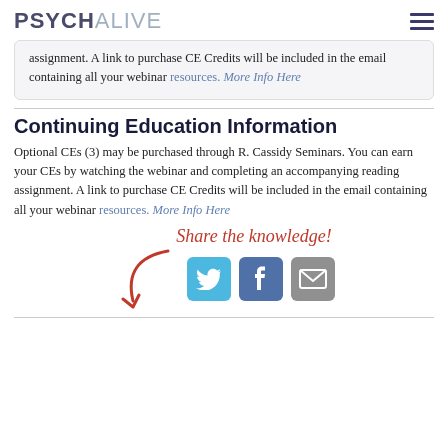PSYCHALIVE
assignment. A link to purchase CE Credits will be included in the email containing all your webinar resources. More Info Here
Continuing Education Information
Optional CEs (3) may be purchased through R. Cassidy Seminars. You can earn your CEs by watching the webinar and completing an accompanying reading assignment. A link to purchase CE Credits will be included in the email containing all your webinar resources. More Info Here
[Figure (infographic): Share the knowledge! text in red italic with a red curved arrow pointing down-right to social media icons for Twitter, Facebook, and Email]